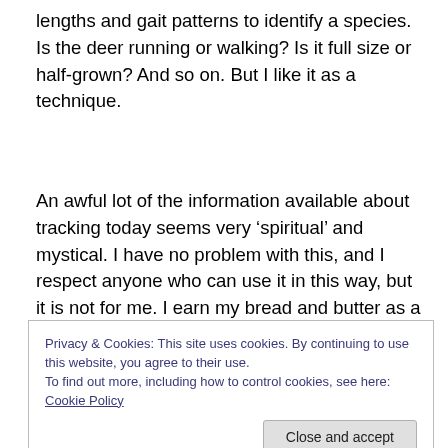lengths and gait patterns to identify a species.  Is the deer running or walking?  Is it full size or half-grown?  And so on.  But I like it as a technique.
An awful lot of the information available about tracking today seems very ‘spiritual’ and mystical.  I have no problem with this, and I respect anyone who can use it in this way, but it is not for me.  I earn my bread and butter as a scientist, and although I like to get away from work as often as I can, I can never quite turn off my scientific reasoning.
Privacy & Cookies: This site uses cookies. By continuing to use this website, you agree to their use.
To find out more, including how to control cookies, see here: Cookie Policy
scientific and can easily be applied and tested (unlike